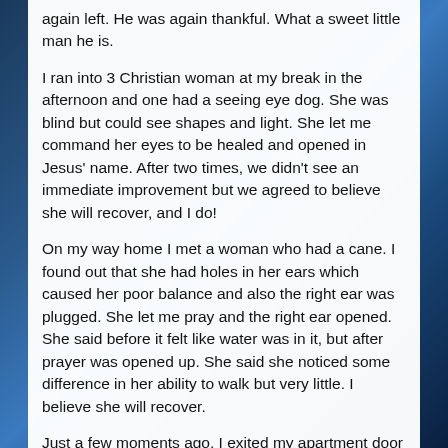again left. He was again thankful. What a sweet little man he is.
I ran into 3 Christian woman at my break in the afternoon and one had a seeing eye dog. She was blind but could see shapes and light. She let me command her eyes to be healed and opened in Jesus' name. After two times, we didn't see an immediate improvement but we agreed to believe she will recover, and I do!
On my way home I met a woman who had a cane. I found out that she had holes in her ears which caused her poor balance and also the right ear was plugged. She let me pray and the right ear opened. She said before it felt like water was in it, but after prayer was opened up. She said she noticed some difference in her ability to walk but very little. I believe she will recover.
Just a few moments ago, I exited my apartment door to put my laundry in the dryer and meet a woman walking past my door. I could tell she was in pain by the way she was walking. I asked what was up and she had reported a